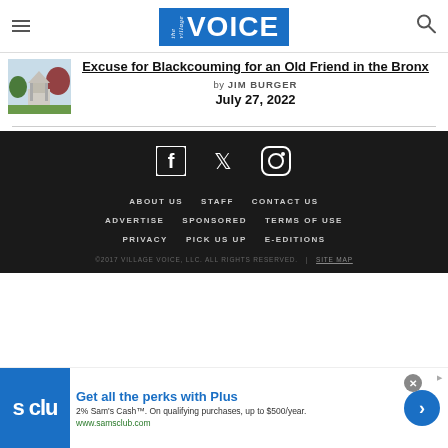The Village Voice
Excuse for Blackcouming for an Old Friend in the Bronx
by JIM BURGER
July 27, 2022
[Figure (photo): Thumbnail photo of a monument or memorial in an outdoor setting with trees]
ABOUT US  STAFF  CONTACT US  ADVERTISE  SPONSORED  TERMS OF USE  PRIVACY  PICK US UP  E-EDITIONS
©2017 VILLAGE VOICE, LLC. ALL RIGHTS RESERVED.  |  SITE MAP